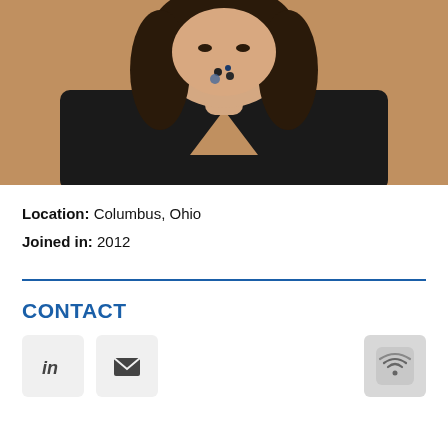[Figure (photo): Professional portrait photo of a woman with dark hair wearing a black top and layered necklaces, photographed against a warm beige/tan background]
Location: Columbus, Ohio
Joined in: 2012
CONTACT
[Figure (other): Row of social/contact icons: LinkedIn icon, envelope/email icon, and a wifi/signal icon on the right]